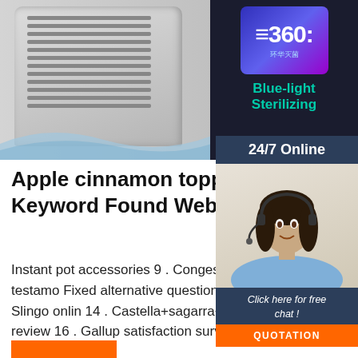[Figure (photo): Left side: industrial air purifier/appliance with metal grille and blue wave graphic on light gray background. Right side: product display showing '360' on a purple/blue glowing screen with Chinese text, labeled 'Blue-light Sterilizing' in teal text, on dark background.]
[Figure (photo): Customer service agent: woman with dark hair wearing a headset and light blue shirt, smiling, with '24/7 Online' dark blue header bar and 'Click here for free chat!' text with orange QUOTATION button below.]
Apple cinnamon topping recipe Keyword Found Websites ...
Instant pot accessories 9 . Conges sco 2019 belgique 10 . Qbible -old testamo Fixed alternative question examples 1 range parenting laws 13 . Slingo onlin 14 . Castella+sagarra+el+salvador 15 . Aqua punching bag review 16 . Gallup satisfaction survey 17 .
[Figure (logo): Orange TOP logo with small dots forming an arc above the letters TOP in orange on white background.]